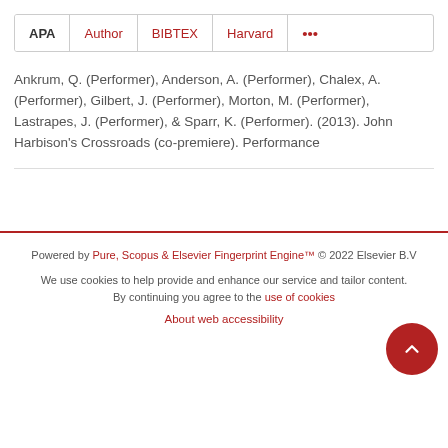APA | Author | BIBTEX | Harvard | ...
Ankrum, Q. (Performer), Anderson, A. (Performer), Chalex, A. (Performer), Gilbert, J. (Performer), Morton, M. (Performer), Lastrapes, J. (Performer), & Sparr, K. (Performer). (2013). John Harbison's Crossroads (co-premiere). Performance
Powered by Pure, Scopus & Elsevier Fingerprint Engine™ © 2022 Elsevier B.V
We use cookies to help provide and enhance our service and tailor content. By continuing you agree to the use of cookies
About web accessibility